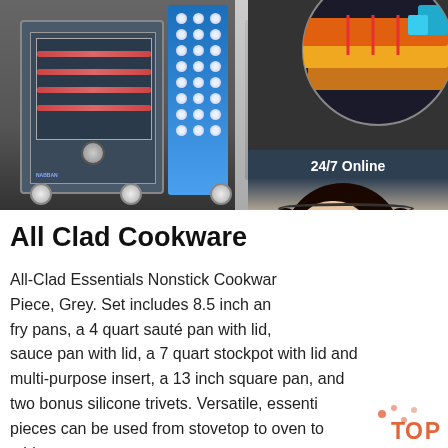[Figure (photo): Top banner showing commercial cooking equipment/oven on the left with a blue LED dot panel, gray panel, and a circular diagram with heat/layer illustration on the top right. Partially overlapping '8 Hours W...' text visible. A customer service chat widget overlaps on the right side showing a female agent with headset, '24/7 Online' header, 'Click here for free chat!', and an orange 'QUOTATION' button.]
All Clad Cookware
All-Clad Essentials Nonstick Cookware Set - 10 Piece, Grey. Set includes 8.5 inch and fry pans, a 4 quart sauté pan with lid, a sauce pan with lid, a 7 quart stockpot with lid and multi-purpose insert, a 13 inch square pan, and two bonus silicone trivets. Versatile, essential pieces can be used from stovetop to oven to table.